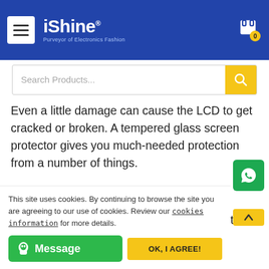iShine — Purveyor of Electronics Fashion
Even a little damage can cause the LCD to get cracked or broken. A tempered glass screen protector gives you much-needed protection from a number of things.
Falls:
Watching your phone fall from your hands to the solid floor can be a greatly horrifying experience. If your phone
This site uses cookies. By continuing to browse the site you are agreeing to our use of cookies. Review our cookies information for more details.